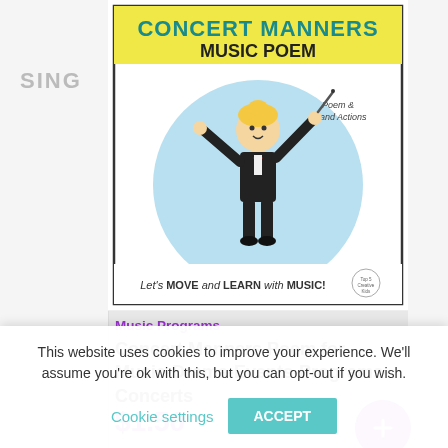SING
[Figure (illustration): Concert Manners Music Poem book cover featuring a cartoon conductor with yellow hair in a black tuxedo conducting, inside a light blue circle. Title reads 'CONCERT MANNERS MUSIC POEM' in teal and black. Text says 'Poem & Hand Actions' and 'Let's MOVE and LEARN with MUSIC!']
Music Programs
Concert Manners Poem for Music-Drama-Events-Programs-Concerts
$1.50
This website uses cookies to improve your experience. We'll assume you're ok with this, but you can opt-out if you wish.
Cookie settings
ACCEPT